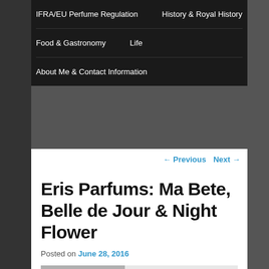IFRA/EU Perfume Regulation    History & Royal History    Food & Gastronomy    Life    About Me & Contact Information
← Previous   Next →
Eris Parfums: Ma Bete, Belle de Jour & Night Flower
Posted on June 28, 2016
[Figure (photo): Two partially visible photographs at the bottom of the page: a black and white image on the left (appears to be a person) and a color image on the right (appears to be outdoor/nature).]